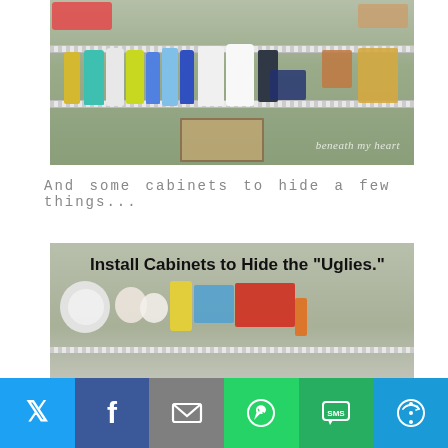[Figure (photo): Wire shelf with household cleaning supplies, detergent bottles, and miscellaneous items. Watermark reads 'beneath my heart' in lower right corner.]
And some cabinets to hide a few things...
[Figure (photo): Photo of open cabinet shelf with toiletries and household items. Text overlay reads: Install Cabinets to Hide the "Uglies."]
[Figure (infographic): Social sharing bar with buttons for Twitter, Facebook, Email, WhatsApp, SMS, and More options.]